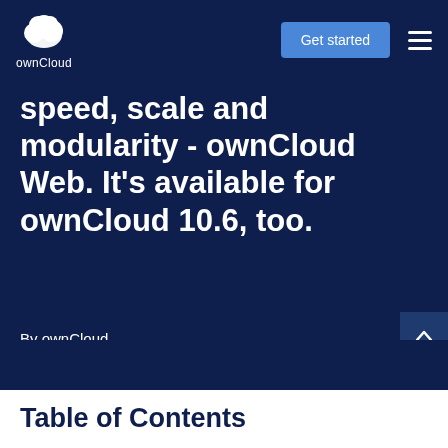ownCloud — Get started
speed, scale and modularity - ownCloud Web. It's available for ownCloud 10.6, too.
By ownCloud
Table of Contents